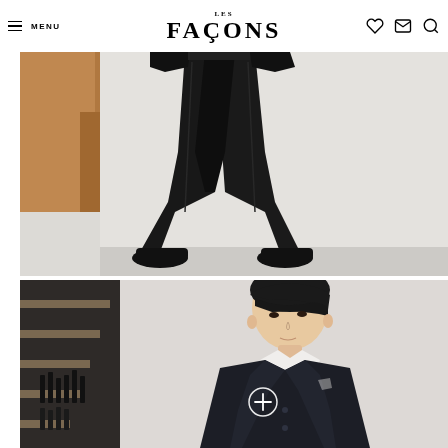LES FAÇONS — navigation bar with menu, logo, heart, mail, and search icons
[Figure (photo): Fashion editorial photo showing lower half of a model wearing wide-leg black trousers and black shoes, standing against a light background with wooden architectural element on the left]
[Figure (photo): Fashion editorial photo showing a model from waist up wearing a dark navy/black fitted blazer over a white shirt, with short black hair, shot against a light grey background. A circular plus/add button overlay is visible on the blazer. Left side shows a dark staircase or shelving unit.]